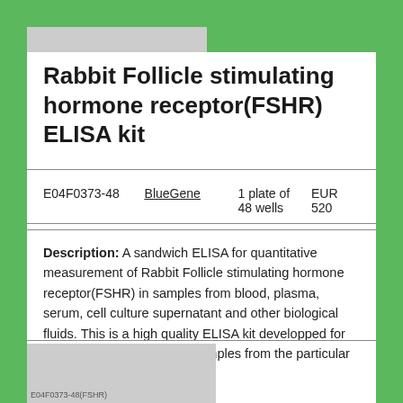[Figure (other): Gray placeholder bar at top]
Rabbit Follicle stimulating hormone receptor(FSHR) ELISA kit
| Product ID | Brand | Quantity | Price |
| --- | --- | --- | --- |
| E04F0373-48 | BlueGene | 1 plate of 48 wells | EUR 520 |
Description: A sandwich ELISA for quantitative measurement of Rabbit Follicle stimulating hormone receptor(FSHR) in samples from blood, plasma, serum, cell culture supernatant and other biological fluids. This is a high quality ELISA kit developped for optimal performance with samples from the particular species.
[Figure (photo): Partial product image with text overlay mentioning FSHR]